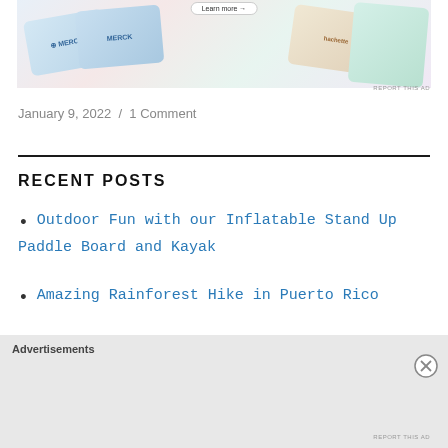[Figure (photo): Advertisement image showing Merck and Hachette branded cards/publications fanned out]
REPORT THIS AD
January 9, 2022  /  1 Comment
Outdoor Fun with our Inflatable Stand Up Paddle Board and Kayak
Amazing Rainforest Hike in Puerto Rico
Advertisements
REPORT THIS AD